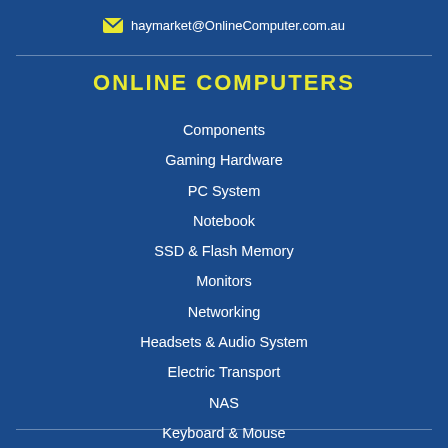haymarket@OnlineComputer.com.au
ONLINE COMPUTERS
Components
Gaming Hardware
PC System
Notebook
SSD & Flash Memory
Monitors
Networking
Headsets & Audio System
Electric Transport
NAS
Keyboard & Mouse
Open Box / Ex-Demo Clearance